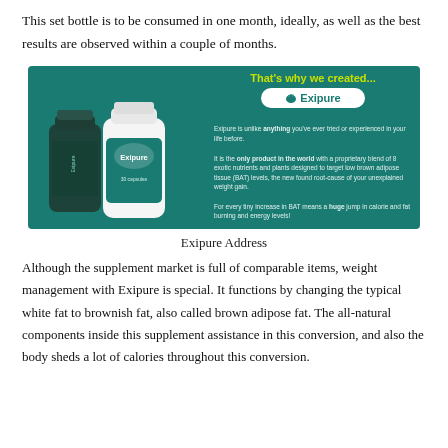This set bottle is to be consumed in one month, ideally, as well as the best results are observed within a couple of months.
[Figure (photo): Exipure supplement product advertisement banner on teal/dark green background. Yellow text 'That's why we created...' at top center. White Exipure logo on leaf shape. Two supplement bottles (one dark, one white) on the left. Text on right describes Exipure as unlike anything tried before, the only product in the world with a proprietary blend of 8 exotic nutrients and plants designed to target low brown adipose tissue (BAT) levels, the new found root cause of unexplained weight gain. Also states every tiny increase in BAT means a huge jump in calorie and fat burning and energy levels.]
Exipure Address
Although the supplement market is full of comparable items, weight management with Exipure is special. It functions by changing the typical white fat to brownish fat, also called brown adipose fat. The all-natural components inside this supplement assistance in this conversion, and also the body sheds a lot of calories throughout this conversion.